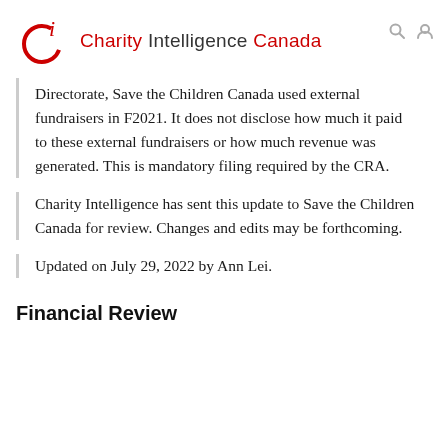Charity Intelligence Canada
Directorate, Save the Children Canada used external fundraisers in F2021. It does not disclose how much it paid to these external fundraisers or how much revenue was generated. This is mandatory filing required by the CRA.
Charity Intelligence has sent this update to Save the Children Canada for review. Changes and edits may be forthcoming.
Updated on July 29, 2022 by Ann Lei.
Financial Review